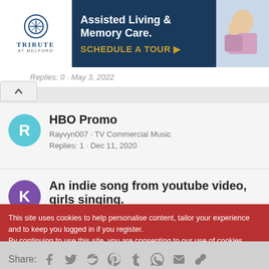[Figure (screenshot): Advertisement banner for Tribute at Melford Assisted Living & Memory Care with blue background and 'SCHEDULE A TOUR' call to action]
Replies: 0 · May 3, 2022
HBO Promo
Rayvyn007 · TV Commercial Music
Replies: 1 · Dec 11, 2020
An indie song from youtube video, girls singing.
Kotek · Music Elsewhere
Replies: 0 · Jan 11, 2022
Share:
This site uses cookies to help personalise content, tailor your experience and to keep you logged in if you register.
By continuing to use this site, you are consenting to our use of cookies.